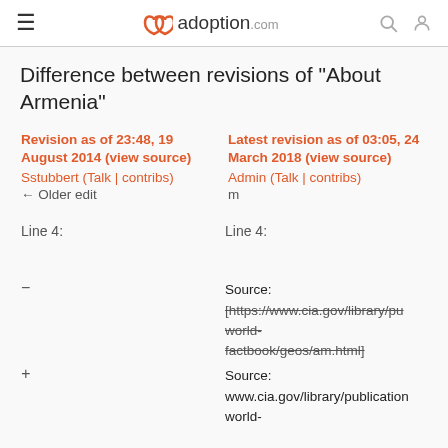adoption.com
Difference between revisions of "About Armenia"
| Revision as of 23:48, 19 August 2014 (view source) | Latest revision as of 03:05, 24 March 2018 (view source) |
| --- | --- |
| Sstubbert (Talk | contribs)
← Older edit | Admin (Talk | contribs)
m |
| Line 4: | Line 4: |
| − | Source:
[https://www.cia.gov/library/pu world-factbook/geos/am.html] |
| + | Source:
www.cia.gov/library/publication world- |